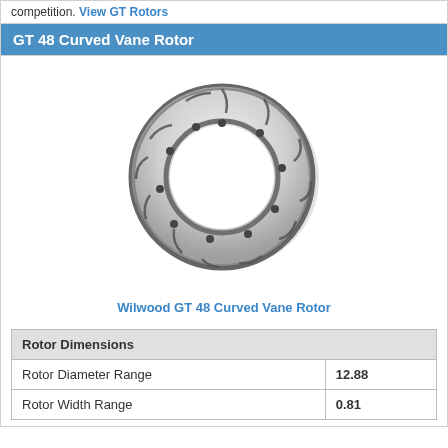competition. View GT Rotors
GT 48 Curved Vane Rotor
[Figure (photo): Photo of a Wilwood GT 48 Curved Vane Rotor - a circular brake rotor ring with curved vanes, slotted design, shown at an angle against white background.]
Wilwood GT 48 Curved Vane Rotor
| Rotor Dimensions |  |
| --- | --- |
| Rotor Diameter Range | 12.88 |
| Rotor Width Range | 0.81 |